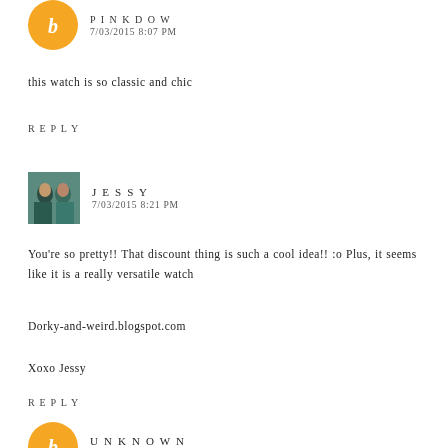[Figure (other): Blogger avatar icon (orange circle with white B) with username partially visible and date 7/03/2015 8:07 PM]
this watch is so classic and chic
REPLY
[Figure (photo): User avatar photo showing two women in teal/blue, next to username JESSY and date 7/03/2015 8:21 PM]
You're so pretty!! That discount thing is such a cool idea!! :o Plus, it seems like it is a really versatile watch
Dorky-and-weird.blogspot.com
Xoxo Jessy
REPLY
[Figure (other): Blogger avatar icon (orange circle with white B) with username UNKNOWN and date 7/03/2015 11:18 PM]